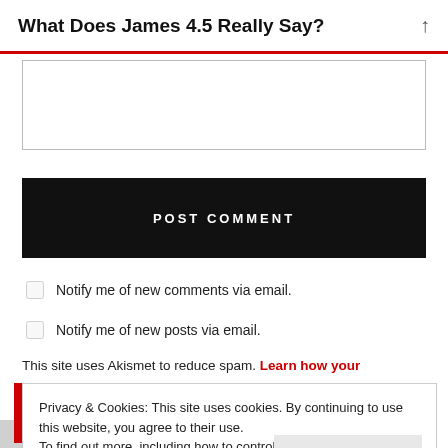What Does James 4.5 Really Say?
POST COMMENT
Notify me of new comments via email.
Notify me of new posts via email.
This site uses Akismet to reduce spam. Learn how your
Privacy & Cookies: This site uses cookies. By continuing to use this website, you agree to their use.
To find out more, including how to control cookies, see here:
Cookie Policy